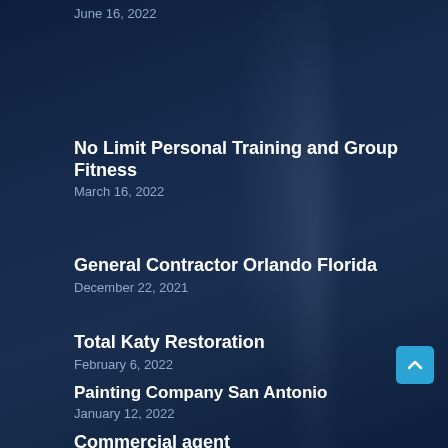June 16, 2022
No Limit Personal Training and Group Fitness
March 16, 2022
General Contractor Orlando Florida
December 22, 2021
Total Katy Restoration
February 6, 2022
Painting Company San Antonio
January 12, 2022
Commercial agent